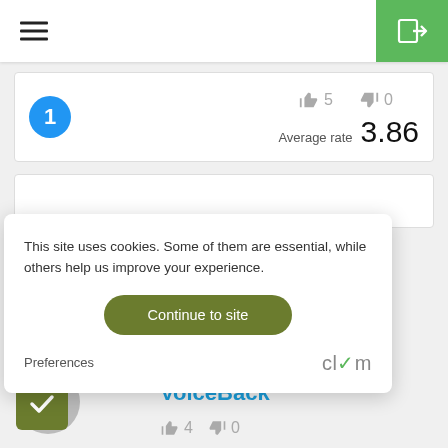≡ [menu] [login button]
5  0  Average rate 3.86
[Figure (screenshot): Blue circle badge with number 1]
This site uses cookies. Some of them are essential, while others help us improve your experience.
Continue to site
Preferences
[Figure (logo): Clym logo]
VoiceBack
4  0